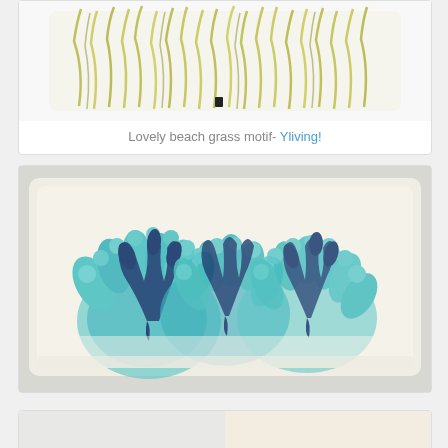[Figure (photo): Decorative pillow with green beach grass motif pattern, partially visible at top of page]
Lovely beach grass motif- Yliving!
[Figure (photo): White decorative lumbar pillow with teal and navy blue coral/seaweed motif embroidery, displayed on white surface]
[Figure (photo): Two decorative pillows partially visible at bottom of page, one light gray/white and one cream/tan colored]